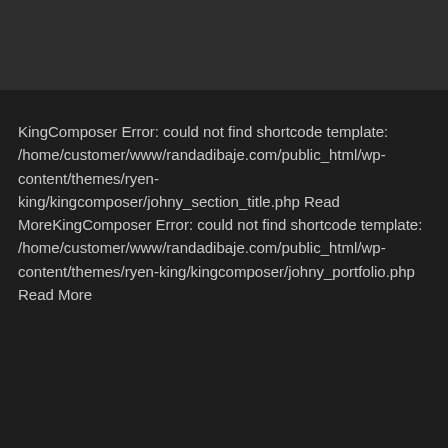KingComposer Error: could not find shortcode template: /home/customer/www/randadibaje.com/public_html/wp-content/themes/ryen-king/kingcomposer/johny_section_title.php Read MoreKingComposer Error: could not find shortcode template: /home/customer/www/randadibaje.com/public_html/wp-content/themes/ryen-king/kingcomposer/johny_portfolio.php Read More